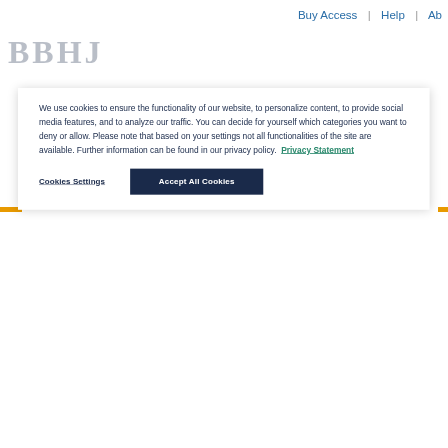Buy Access | Help | Ab
We use cookies to ensure the functionality of our website, to personalize content, to provide social media features, and to analyze our traffic. You can decide for yourself which categories you want to deny or allow. Please note that based on your settings not all functionalities of the site are available. Further information can be found in our privacy policy. Privacy Statement
Cookies Settings | Accept All Cookies
125
Search
Your search for 'dc_creator:( "Zi... ) OR dc_contributor:( "Zimmerm... returned 125 results. Modify sear... Sort Results by Relevance | Newe...